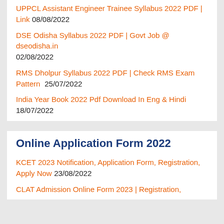UPPCL Assistant Engineer Trainee Syllabus 2022 PDF | Link 08/08/2022
DSE Odisha Syllabus 2022 PDF | Govt Job @ dseodisha.in 02/08/2022
RMS Dholpur Syllabus 2022 PDF | Check RMS Exam Pattern 25/07/2022
India Year Book 2022 Pdf Download In Eng & Hindi 18/07/2022
Online Application Form 2022
KCET 2023 Notification, Application Form, Registration, Apply Now 23/08/2022
CLAT Admission Online Form 2023 | Registration,